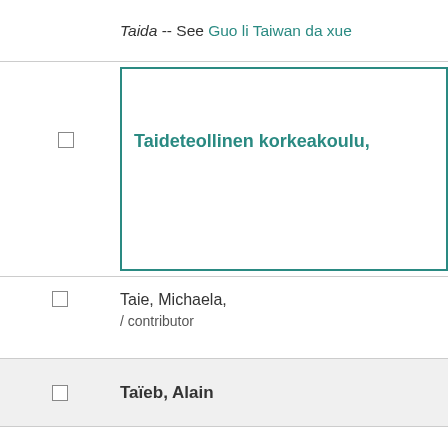Taida -- See Guo li Taiwan da xue
Taideteollinen korkeakoulu,
Taie, Michaela, / contributor
Taïeb, Alain
Taïeb-Carlen, Sarah.